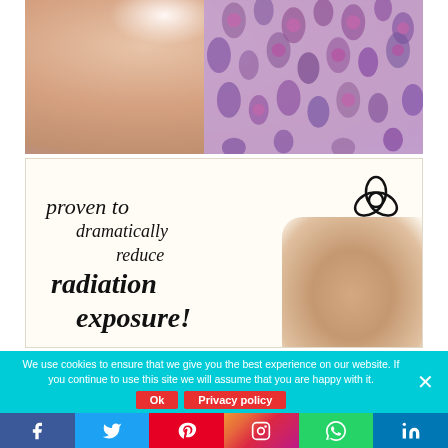[Figure (photo): Woman smiling, raising her arm showing underarm area, wearing a purple floral patterned outfit]
[Figure (advertisement): Aulterra product advertisement with logo (overlapping rings symbol) and italic text: 'proven to dramatically reduce radiation exposure!']
We use cookies to ensure that we give you the best experience on our website. If you continue to use this site we will assume that you are happy with it.
Ok   Privacy policy
[Figure (infographic): Social media share buttons bar: Facebook, Twitter, Pinterest, Instagram, WhatsApp, LinkedIn]